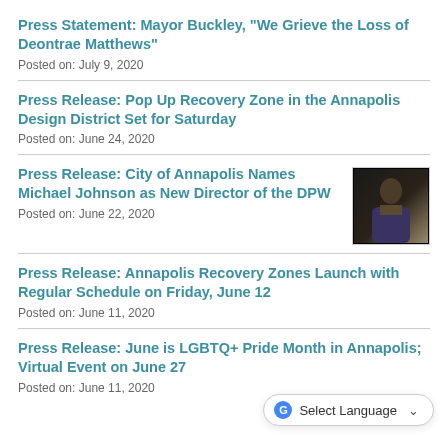Press Statement: Mayor Buckley, "We Grieve the Loss of Deontrae Matthews"
Posted on: July 9, 2020
Press Release: Pop Up Recovery Zone in the Annapolis Design District Set for Saturday
Posted on: June 24, 2020
Press Release: City of Annapolis Names Michael Johnson as New Director of the DPW
[Figure (photo): Portrait photo of Michael Johnson in a suit]
Posted on: June 22, 2020
Press Release: Annapolis Recovery Zones Launch with Regular Schedule on Friday, June 12
Posted on: June 11, 2020
Press Release: June is LGBTQ+ Pride Month in Annapolis; Virtual Event on June 27
Posted on: June 11, 2020